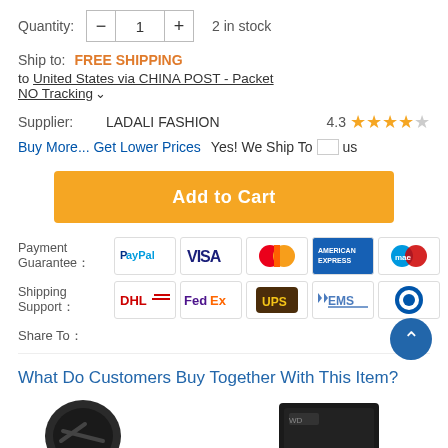Quantity: 1  2 in stock
Ship to: FREE SHIPPING to United States via CHINA POST - Packet NO Tracking
Supplier: LADALI FASHION  4.3 ★★★★☆
Buy More... Get Lower Prices   Yes! We Ship To [US]
Add to Cart
Payment Guarantee: PayPal VISA MasterCard American Express Maestro
Shipping Support: DHL FedEx UPS EMS
Share To:
What Do Customers Buy Together With This Item?
[Figure (photo): Product thumbnail images at bottom of page]